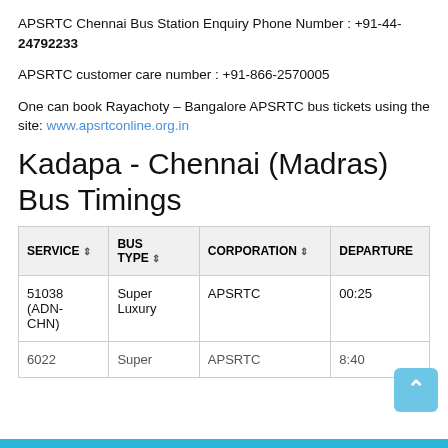APSRTC Chennai Bus Station Enquiry Phone Number : +91-44- 24792233
APSRTC customer care number : +91-866-2570005
One can book Rayachoty – Bangalore APSRTC bus tickets using the site: www.apsrtconline.org.in
Kadapa - Chennai (Madras) Bus Timings
| SERVICE | BUS TYPE | CORPORATION | DEPARTURE |
| --- | --- | --- | --- |
| 51038 (ADN-CHN) | Super Luxury | APSRTC | 00:25 |
| 6022 | Super | APSRTC | 8:40 |